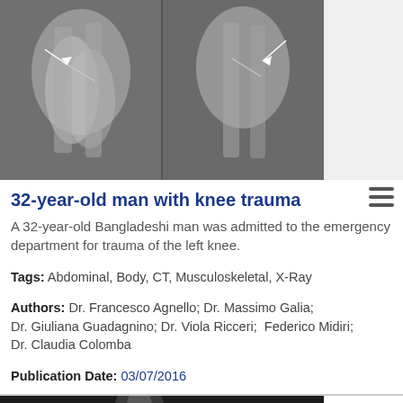[Figure (photo): Two X-ray images of a knee/leg showing bone trauma with arrows pointing to fracture areas]
32-year-old man with knee trauma
A 32-year-old Bangladeshi man was admitted to the emergency department for trauma of the left knee.
Tags: Abdominal, Body, CT, Musculoskeletal, X-Ray
Authors: Dr. Francesco Agnello; Dr. Massimo Galia; Dr. Giuliana Guadagnino; Dr. Viola Ricceri;  Federico Midiri; Dr. Claudia Colomba
Publication Date: 03/07/2016
[Figure (photo): Lateral X-ray of a knee joint showing bone structures with L marker in lower right]
66-year old woman with knee locking, swelling, pain